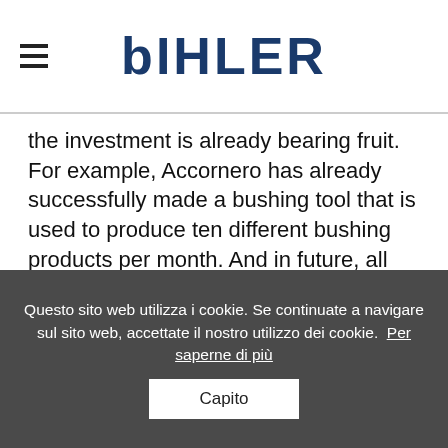BIHLER
the investment is already bearing fruit. For example, Accornero has already successfully made a bushing tool that is used to produce ten different bushing products per month. And in future, all new tools will be built using the Leantool system. The first step is to consult the Bihler database. In eighty percent of cases, this offers tried-and-tested phase plans and step-by-step plans for the punched and bended part that is needed. Then the tool is designed using the bNX technology software before it is sent to be manufactured. Following the Leantool system, the tool is then fitted, the machine is set up and production of the parts can begin. Thus, Accornero has
Questo sito web utilizza i cookie. Se continuate a navigare sul sito web, accettate il nostro utilizzo dei cookie. Per saperne di più
Capito